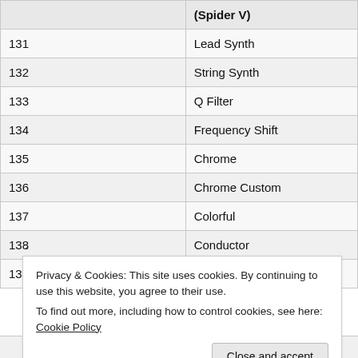|  | (Spider V) |
| --- | --- |
| 131 | Lead Synth |
| 132 | String Synth |
| 133 | Q Filter |
| 134 | Frequency Shift |
| 135 | Chrome |
| 136 | Chrome Custom |
| 137 | Colorful |
| 138 | Conductor |
| 139 | Fassel |
Privacy & Cookies: This site uses cookies. By continuing to use this website, you agree to their use.
To find out more, including how to control cookies, see here: Cookie Policy